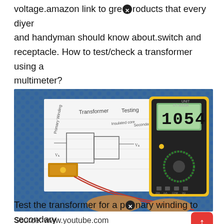voltage.amazon link to great products that every diyer and handyman should know about.switch and receptacle. How to test/check a transformer using a multimeter?
[Figure (photo): A person testing a transformer with a yellow/black DT-8205A digital multimeter. The multimeter displays 1054. A handwritten diagram on white paper shows 'Transformer Testing' with primary and secondary winding labels. A small transformer is visible with red probe wires connected.]
Source: www.youtube.com
Test the transformer for a primary winding to secondary